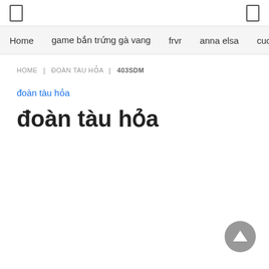Home | game bắn trứng gà vang | frvr | anna elsa | cuoc ch
HOME ‖ ĐOÀN TAU HỎA ‖ 403SDM
đoàn tàu hỏa
đoàn tàu hỏa